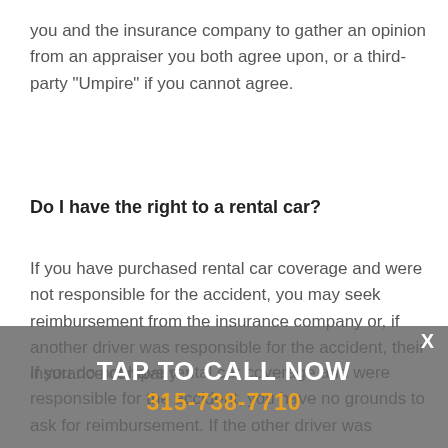you and the insurance company to gather an opinion from an appraiser you both agree upon, or a third-party "Umpire" if you cannot agree.
Do I have the right to a rental car?
If you have purchased rental car coverage and were not responsible for the accident, you may seek reimbursement from the insurance company or, if another driver was responsible for the accident, their insurance company.
[Figure (other): Call-to-action overlay banner with 'TAP TO CALL NOW' in white and phone number '315-738-7710' in orange, with an X close button]
If you do not have rental car coverage and were responsible for the accident, you have no grounds to ask for reimbursement. If the other driver was